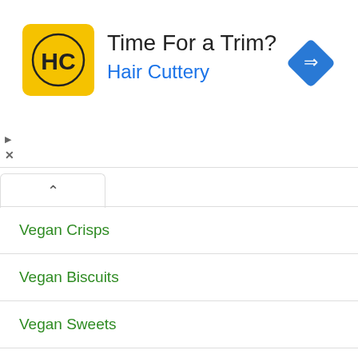[Figure (other): Advertisement banner for Hair Cuttery with logo, text 'Time For a Trim?' and 'Hair Cuttery', and a blue navigation icon]
Vegan Crisps
Vegan Biscuits
Vegan Sweets
Burger King's Rebel Whopper
Vegan Staples
Accidentally Vegan Foods
Vegan Keto Diet